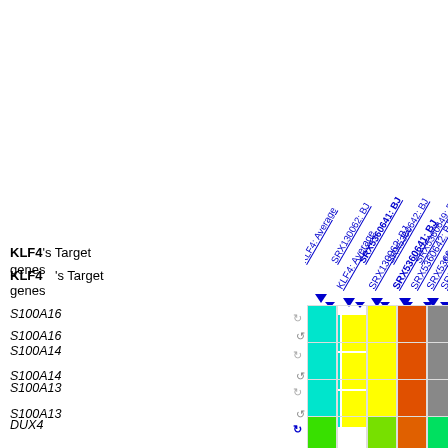Links: Movie and Document for ChIP-Atlas Target Genes
[Figure (infographic): Heatmap showing KLF4 target genes (S100A16, S100A14, S100A13, DUX4, LOC102724770, DGCR6, MAP1LC3C, CALCOCO1) vs ChIP-seq experiments (KLF4: Average, SRX130062: BJ, SRX5360641: BJ, SRX5360642: BJ, SRX5360649: BJ, SRX5360650: BJ, SRX5360661...) with colored cells indicating expression levels. Colors range from cyan/green (low) to yellow/orange/red (high) with gray for missing data.]